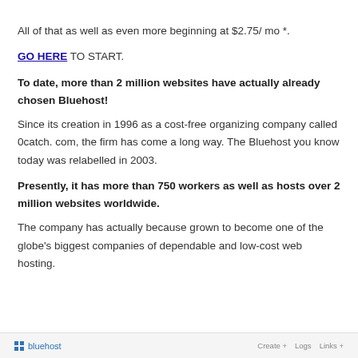All of that as well as even more beginning at $2.75/ mo *.
GO HERE TO START.
To date, more than 2 million websites have actually already chosen Bluehost!
Since its creation in 1996 as a cost-free organizing company called 0catch. com, the firm has come a long way. The Bluehost you know today was relabelled in 2003.
Presently, it has more than 750 workers as well as hosts over 2 million websites worldwide.
The company has actually because grown to become one of the globe’s biggest companies of dependable and low-cost web hosting.
bluehost